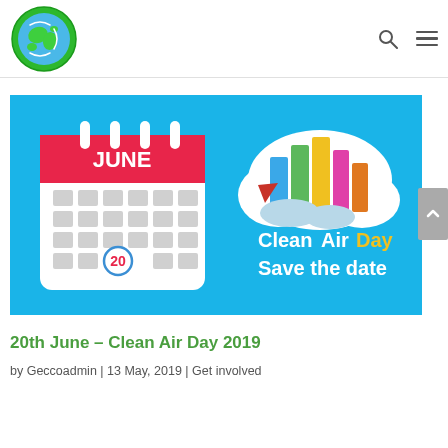[Figure (illustration): Clean Air Day 2019 promotional banner: light blue background, calendar showing JUNE with date 20 circled in blue, and a cloud with colorful city buildings, with text 'CleanAirDay Save the date']
20th June – Clean Air Day 2019
by Geccoadmin | 13 May, 2019 | Get involved